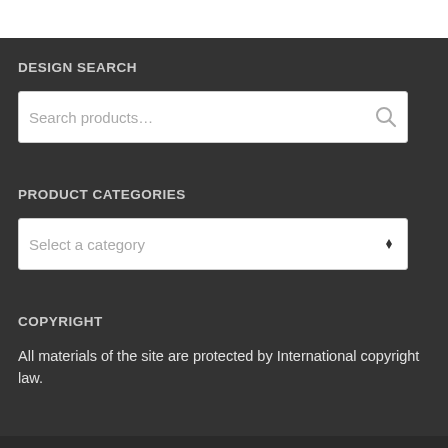DESIGN SEARCH
[Figure (screenshot): Search input box with placeholder text 'Search products...' and a search icon on the right]
PRODUCT CATEGORIES
[Figure (screenshot): Dropdown select box with placeholder text 'Select a category' and a dropdown arrow on the right]
COPYRIGHT
All materials of the site are protected by International copyright law.